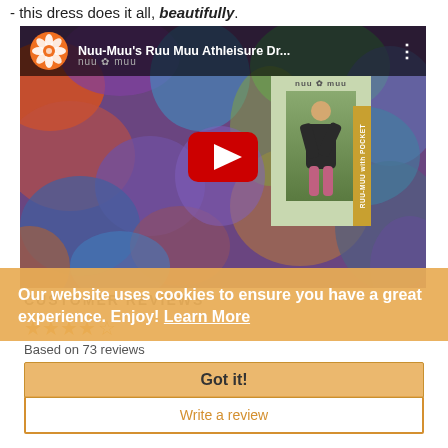- this dress does it all, beautifully.
[Figure (screenshot): YouTube video thumbnail for Nuu-Muu's Ruu Muu Athleisure Dress with colorful abstract background and product card showing a woman in a yoga pose. Large red YouTube play button in center.]
CUSTOMER REVIEWS
★★★★☆ Based on 73 reviews
Our website uses cookies to ensure you have a great experience. Enjoy! Learn More
Got it!
Write a review